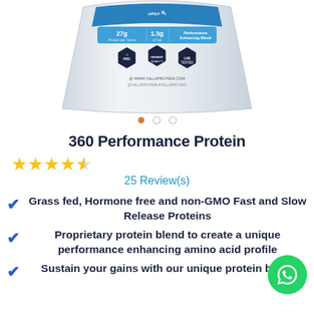[Figure (photo): Yalla Protein 360 Performance Protein product bag, white/silver packaging with blue top, showing 27g protein per serve, 1.3g of fat, Performance Enhancing Blend, and three badge icons (Free Formula Pro, Highest Quality, Lab Tested). Website and social handles visible.]
• • •
360 Performance Protein
★★★★½ 25 Review(s)
Grass fed, Hormone free and non-GMO Fast and Slow Release Proteins
Proprietary protein blend to create a unique performance enhancing amino acid profile
Sustain your gains with our unique protein blend